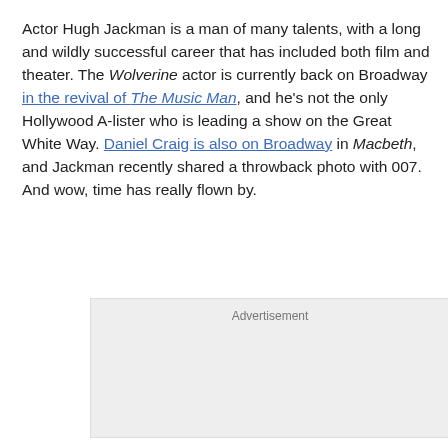Actor Hugh Jackman is a man of many talents, with a long and wildly successful career that has included both film and theater. The Wolverine actor is currently back on Broadway in the revival of The Music Man, and he's not the only Hollywood A-lister who is leading a show on the Great White Way. Daniel Craig is also on Broadway in Macbeth, and Jackman recently shared a throwback photo with 007. And wow, time has really flown by.
[Figure (other): Advertisement placeholder box with light gray background]